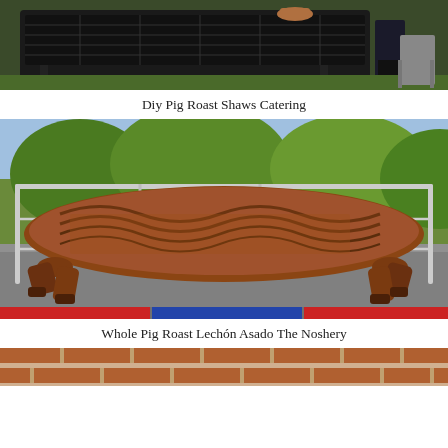[Figure (photo): Top portion of a pig roast setup showing a dark metal grill/smoker with someone standing beside it on green grass.]
Diy Pig Roast Shaws Catering
[Figure (photo): A whole roasted pig (lechón asado) on a wire rack frame on a table, showing golden-brown crispy skin, outdoors with foliage in background.]
Whole Pig Roast Lechón Asado The Noshery
[Figure (photo): Bottom partial view of another pig roast image showing a brick background, beginning of a new photo.]